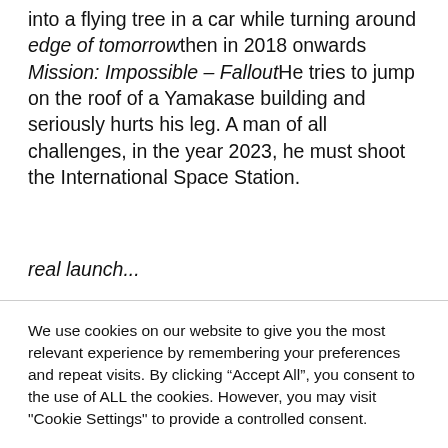into a flying tree in a car while turning around edge of tomorrowthen in 2018 onwards Mission: Impossible – FalloutHe tries to jump on the roof of a Yamakase building and seriously hurts his leg. A man of all challenges, in the year 2023, he must shoot the International Space Station.
real launch...
We use cookies on our website to give you the most relevant experience by remembering your preferences and repeat visits. By clicking “Accept All”, you consent to the use of ALL the cookies. However, you may visit "Cookie Settings" to provide a controlled consent.